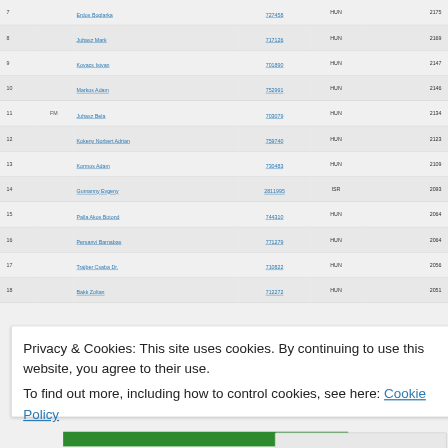| # | Title | Name | ID | Fed | Rating |
| --- | --- | --- | --- | --- | --- |
| 7 |  | Erdos Boglarka | 727458 | HUN | 2175 |
| 8 |  | Juhasz Mark | 717126 | HUN | 2169 |
| 9 |  | Kovacs Istvan | 701890 | HUN | 2147 |
| 10 |  | Markos Adam | 752991 | HUN | 2146 |
| 11 | FM | Juhasz Bela | 703079 | HUN | 2134 |
| 12 |  | Kokeny Norbert Adrian | 759740 | HUN | 2123 |
| 13 |  | Kormos Adam | 730483 | HUN | 2109 |
| 14 |  | Gumanny Evgeny | 2811995 | ISR | 2093 |
| 15 |  | Palla Akos Botond | 744310 | HUN | 2064 |
| 16 |  | Persanyi Barnabas | 771279 | HUN | 2064 |
| 17 |  | Trajber Csaba Dr. | 710822 | HUN | 2056 |
| 18 |  | Bakk Zoltan | 712272 | HUN | 2051 |
Privacy & Cookies: This site uses cookies. By continuing to use this website, you agree to their use. To find out more, including how to control cookies, see here: Cookie Policy